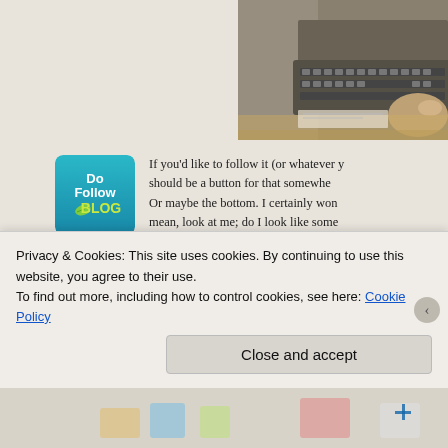[Figure (photo): Person typing on a keyboard at a desk, viewed from above and side]
[Figure (logo): DoFollow Blog logo — blue square with 'DoFollow' in white and 'BLOG' in yellow-green with a leaf icon]
If you'd like to follow it (or whatever y... should be a button for that somewhe... Or maybe the bottom. I certainly won... mean, look at me; do I look like some... degree of regularity? It'd be nice to think you wer... Press the button. Why not?
Oh, and if you like following people on Twitter, wh...
Privacy & Cookies: This site uses cookies. By continuing to use this website, you agree to their use.
To find out more, including how to control cookies, see here: Cookie Policy
Close and accept